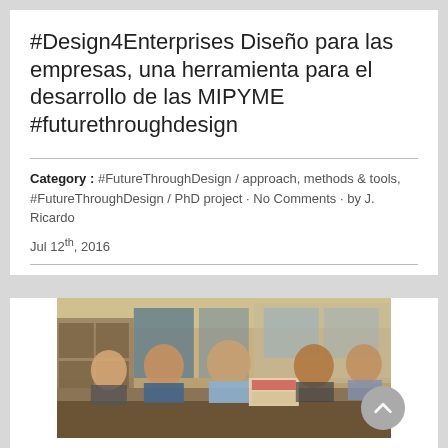#Design4Enterprises Diseño para las empresas, una herramienta para el desarrollo de las MIPYME #futurethroughdesign
Category : #FutureThroughDesign / approach, methods & tools, #FutureThroughDesign / PhD project · No Comments · by J. Ricardo
Jul 12th, 2016
[Figure (photo): Group of students and participants seated around a table in a classroom or meeting room setting, engaged in a workshop or presentation activity.]
La Comisión Europea presenta el proyecto